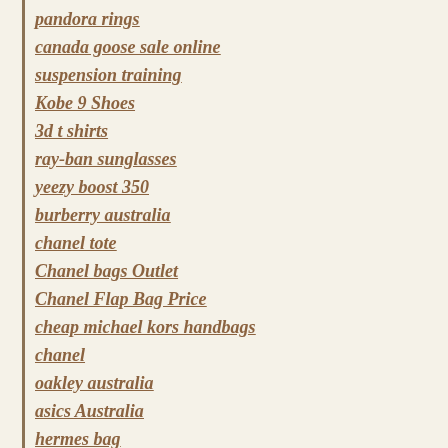pandora rings
canada goose sale online
suspension training
Kobe 9 Shoes
3d t shirts
ray-ban sunglasses
yeezy boost 350
burberry australia
chanel tote
Chanel bags Outlet
Chanel Flap Bag Price
cheap michael kors handbags
chanel
oakley australia
asics Australia
hermes bag
christian louboutin shoes